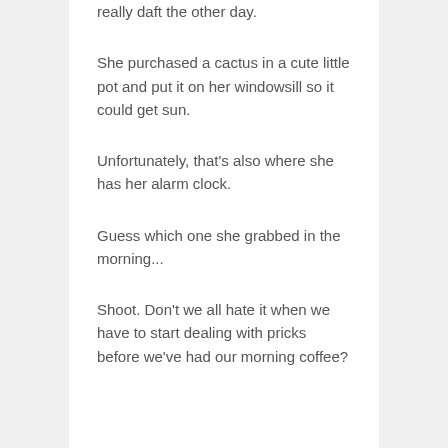really daft the other day.
She purchased a cactus in a cute little pot and put it on her windowsill so it could get sun.
Unfortunately, that's also where she has her alarm clock.
Guess which one she grabbed in the morning...
Shoot. Don't we all hate it when we have to start dealing with pricks before we've had our morning coffee?